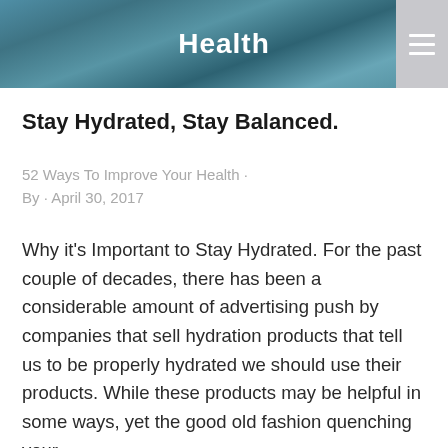[Figure (photo): Dark teal/blue banner header with the word 'Health' in white bold text centered, and a hamburger menu icon on the right side on a gray background]
Stay Hydrated, Stay Balanced.
52 Ways To Improve Your Health · By · April 30, 2017
Why it's Important to Stay Hydrated. For the past couple of decades, there has been a considerable amount of advertising push by companies that sell hydration products that tell us to be properly hydrated we should use their products. While these products may be helpful in some ways, yet the good old fashion quenching your...